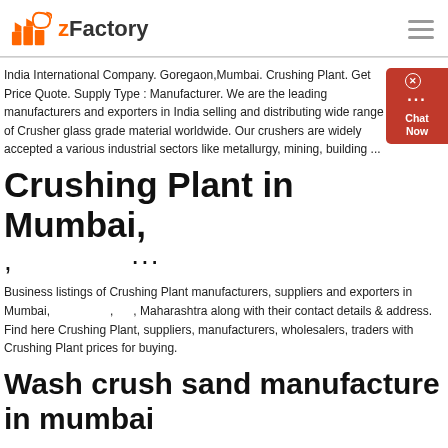zFactory
India International Company. Goregaon,Mumbai. Crushing Plant. Get Price Quote. Supply Type : Manufacturer. We are the leading manufacturers and exporters in India selling and distributing wide range of Crusher glass grade material worldwide. Our crushers are widely accepted a various industrial sectors like metallurgy, mining, building ...
Crushing Plant in Mumbai,
, ...
Business listings of Crushing Plant manufacturers, suppliers and exporters in Mumbai, , Maharashtra along with their contact details & address. Find here Crushing Plant, suppliers, manufacturers, wholesalers, traders with Crushing Plant prices for buying.
Wash crush sand manufacture in mumbai